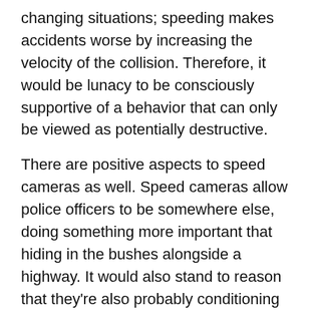changing situations; speeding makes accidents worse by increasing the velocity of the collision. Therefore, it would be lunacy to be consciously supportive of a behavior that can only be viewed as potentially destructive.
There are positive aspects to speed cameras as well. Speed cameras allow police officers to be somewhere else, doing something more important that hiding in the bushes alongside a highway. It would also stand to reason that they're also probably conditioning drivers to obey the posted speed limits.
Privacy & Cookies: This site uses cookies. By continuing to use this website, you agree to their use.
To find out more, including how to control cookies, see here: Cookie Policy
privacy, but I don't buy that. If I'm operating as a